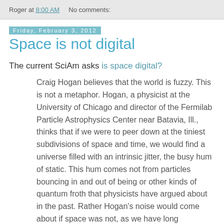Roger at 8:00 AM    No comments:
Friday, February 3, 2012
Space is not digital
The current SciAm asks is space digital?
Craig Hogan believes that the world is fuzzy. This is not a metaphor. Hogan, a physicist at the University of Chicago and director of the Fermilab Particle Astrophysics Center near Batavia, Ill., thinks that if we were to peer down at the tiniest subdivisions of space and time, we would find a universe filled with an intrinsic jitter, the busy hum of static. This hum comes not from particles bouncing in and out of being or other kinds of quantum froth that physicists have argued about in the past. Rather Hogan's noise would come about if space was not, as we have long assumed, smooth and continuous, a glassy backdrop to the dance of fields and particles.